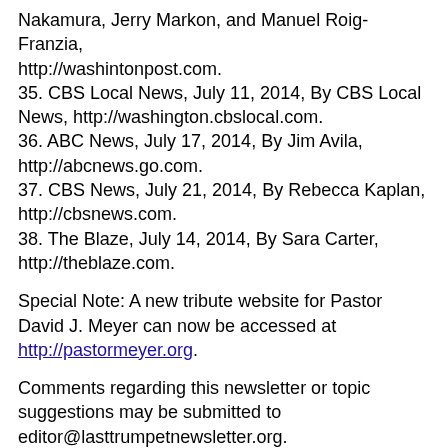Nakamura, Jerry Markon, and Manuel Roig-Franzia, http://washintonpost.com.
35. CBS Local News, July 11, 2014, By CBS Local News, http://washington.cbslocal.com.
36. ABC News, July 17, 2014, By Jim Avila, http://abcnews.go.com.
37. CBS News, July 21, 2014, By Rebecca Kaplan, http://cbsnews.com.
38. The Blaze, July 14, 2014, By Sara Carter, http://theblaze.com.
Special Note: A new tribute website for Pastor David J. Meyer can now be accessed at http://pastormeyer.org.
Comments regarding this newsletter or topic suggestions may be submitted to editor@lasttrumpetnewsletter.org. If you would like to submit a prayer request, you may send email to prayer@ltmmail.org or mail it to our postal address.